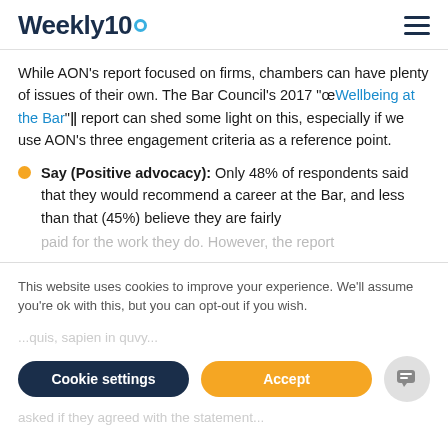Weekly10
While AON's report focused on firms, chambers can have plenty of issues of their own. The Bar Council's 2017 "œWellbeing at the Bar"ǁ report can shed some light on this, especially if we use AON's three engagement criteria as a reference point.
Say (Positive advocacy): Only 48% of respondents said that they would recommend a career at the Bar, and less than that (45%) believe they are fairly paid for the work they do. However, the report...
This website uses cookies to improve your experience. We'll assume you're ok with this, but you can opt-out if you wish.